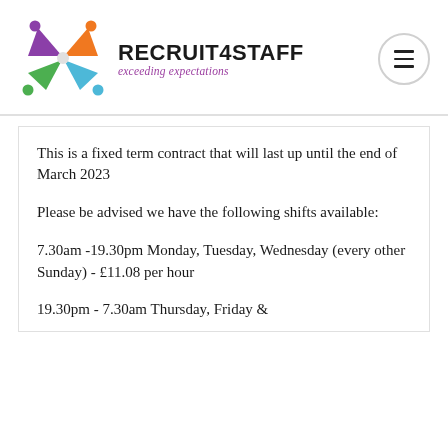[Figure (logo): Recruit4Staff logo with colourful star/people icon and text 'RECRUIT4STAFF exceeding expectations']
This is a fixed term contract that will last up until the end of March 2023
Please be advised we have the following shifts available:
7.30am -19.30pm Monday, Tuesday, Wednesday (every other Sunday) - £11.08 per hour
19.30pm - 7.30am Thursday, Friday &